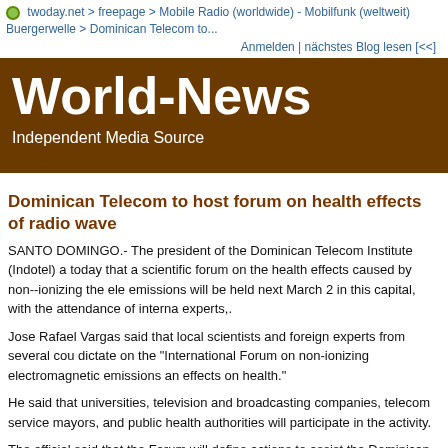twoday.net > freepage > Mobile Radio (worldwide) - Mobilfunk (weltweit) Buergerwelle > Dominican Telecom to...
Anmelden | nächstes Blog lesen [<<]
World-News
Independent Media Source
Dominican Telecom to host forum on health effects of radio wave
SANTO DOMINGO.- The president of the Dominican Telecom Institute (Indotel) a today that a scientific forum on the health effects caused by non--ionizing the ele emissions will be held next March 2 in this capital, with the attendance of interna experts,.
Jose Rafael Vargas said that local scientists and foreign experts from several cou dictate on the "International Forum on non-ionizing electromagnetic emissions an effects on health."
He said that universities, television and broadcasting companies, telecom service mayors, and public health authorities will participate in the activity.
The official said that the Forum will define actions to assist the Dominican State i norm on the emissions of no-ionizing the electromagnetic waves and their pote